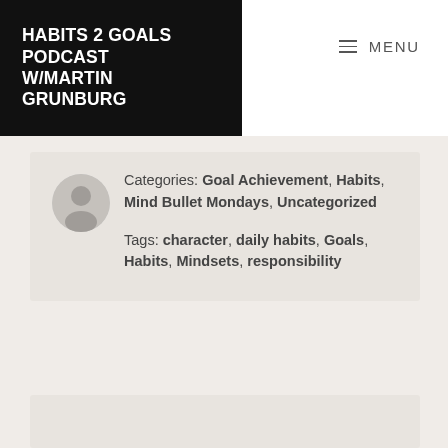HABITS 2 GOALS PODCAST W/MARTIN GRUNBURG
MENU
Categories: Goal Achievement, Habits, Mind Bullet Mondays, Uncategorized
Tags: character, daily habits, Goals, Habits, Mindsets, responsibility